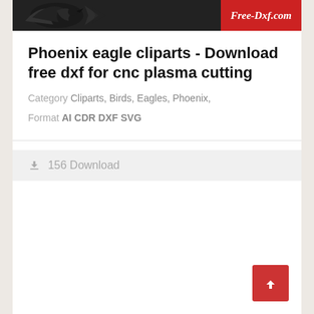[Figure (illustration): Website banner image showing a phoenix/eagle clipart in black on a dark background on the left, and a red panel on the right with 'Free-Dxf.com' text in white italic lettering.]
Phoenix eagle cliparts - Download free dxf for cnc plasma cutting
Category Cliparts, Birds, Eagles, Phoenix,
Format AI CDR DXF SVG
156 Download
[Figure (illustration): Empty white content area below the download bar]